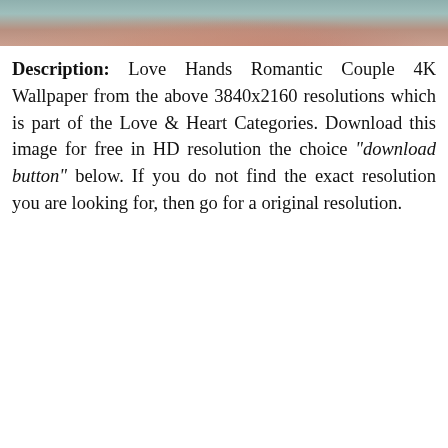[Figure (photo): Partial image of romantic couple holding hands, cropped at top of page showing skin tones and teal/muted background]
Description: Love Hands Romantic Couple 4K Wallpaper from the above 3840x2160 resolutions which is part of the Love & Heart Categories. Download this image for free in HD resolution the choice "download button" below. If you do not find the exact resolution you are looking for, then go for a original resolution.